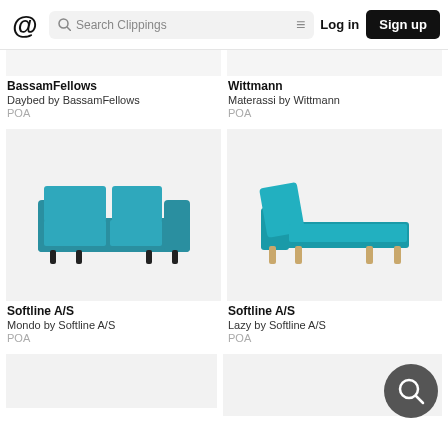Clippings - Search Clippings - Log in - Sign up
BassamFellows
Daybed by BassamFellows
POA
Wittmann
Materassi by Wittmann
POA
[Figure (photo): Teal/turquoise three-seater sofa with low arms on dark legs - Mondo by Softline A/S]
Softline A/S
Mondo by Softline A/S
POA
[Figure (photo): Teal/turquoise chaise daybed with asymmetric back cushion on wooden legs - Lazy by Softline A/S]
Softline A/S
Lazy by Softline A/S
POA